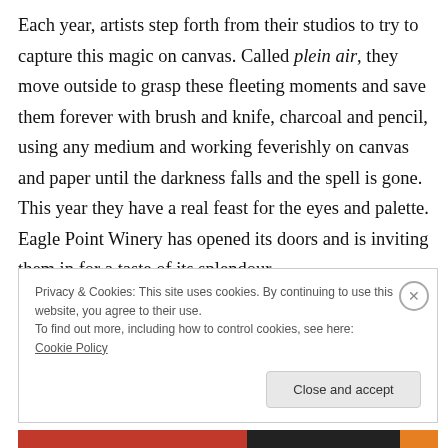Each year, artists step forth from their studios to try to capture this magic on canvas. Called plein air, they move outside to grasp these fleeting moments and save them forever with brush and knife, charcoal and pencil, using any medium and working feverishly on canvas and paper until the darkness falls and the spell is gone. This year they have a real feast for the eyes and palette. Eagle Point Winery has opened its doors and is inviting them in for a taste of its splendour.
Privacy & Cookies: This site uses cookies. By continuing to use this website, you agree to their use.
To find out more, including how to control cookies, see here: Cookie Policy